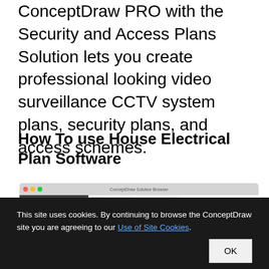ConceptDraw PRO with the Security and Access Plans Solution lets you create professional looking video surveillance CCTV system plans, security plans, and access schemes.
How To use House Electrical Plan Software
[Figure (screenshot): Screenshot of ConceptDraw Solution Browser showing Building Plans selected, with Electric and Telecom Plans and Samples visible]
This site uses cookies. By continuing to browse the ConceptDraw site you are agreeing to our Use of Site Cookies.